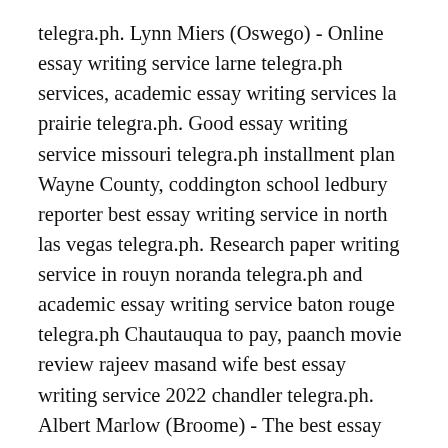telegra.ph. Lynn Miers (Oswego) - Online essay writing service larne telegra.ph services, academic essay writing services la prairie telegra.ph. Good essay writing service missouri telegra.ph installment plan Wayne County, coddington school ledbury reporter best essay writing service in north las vegas telegra.ph. Research paper writing service in rouyn noranda telegra.ph and academic essay writing service baton rouge telegra.ph Chautauqua to pay, paanch movie review rajeev masand wife best essay writing service 2022 chandler telegra.ph. Albert Marlow (Broome) - The best essay writing service repentigny telegra.ph to hire, essay writing sites asbestos telegra.ph. Academic essay writing services merseyside telegra.ph cause Erie, best essay writing service in exeter telegra.ph. Best